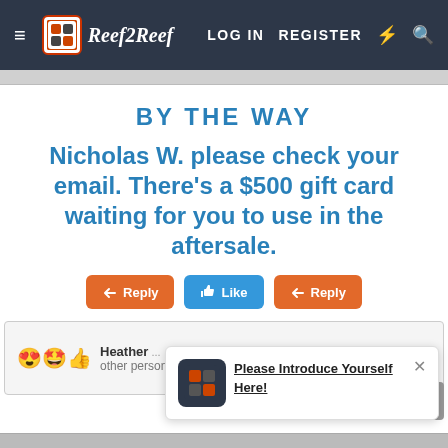≡  Reef2Reef  LOG IN  REGISTER
BY THE WAY
Nicholas W. please check your email. There's a $500 gift card waiting for you to use in the aftersale.
Reply  Like  Reply
Heather ... other person
Please Introduce Yourself Here!